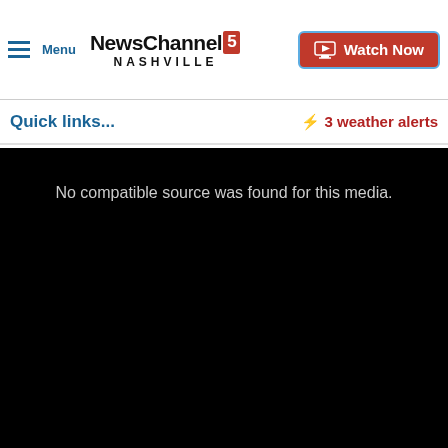NewsChannel 5 NASHVILLE — Watch Now
Quick links...
3 weather alerts
[Figure (screenshot): Black video player area with text: No compatible source was found for this media.]